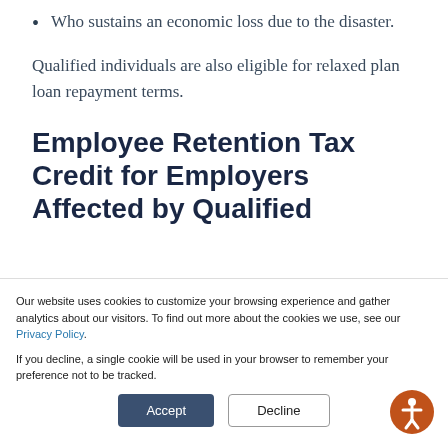Who sustains an economic loss due to the disaster.
Qualified individuals are also eligible for relaxed plan loan repayment terms.
Employee Retention Tax Credit for Employers Affected by Qualified
Our website uses cookies to customize your browsing experience and gather analytics about our visitors. To find out more about the cookies we use, see our Privacy Policy.

If you decline, a single cookie will be used in your browser to remember your preference not to be tracked.